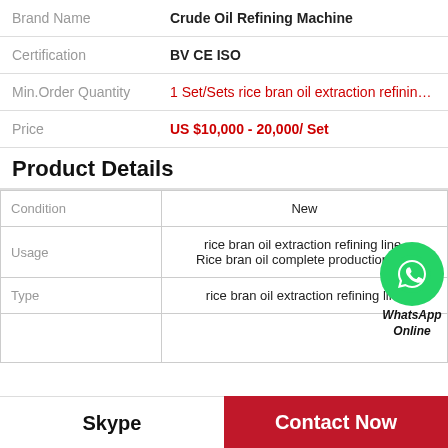| Brand Name | Crude Oil Refining Machine |
| --- | --- |
| Brand Name | Crude Oil Refining Machine |
| Certification | BV CE ISO |
| Min.Order Quantity | 1 Set/Sets rice bran oil extraction refinin… |
| Price | US $10,000 - 20,000/ Set |
Product Details
| Condition | New |
| --- | --- |
| Condition | New |
| Usage | rice bran oil extraction refining line, Rice bran oil complete production line |
| Type | rice bran oil extraction refining line |
[Figure (logo): WhatsApp green circle icon with phone handset, labeled WhatsApp Online in bold italic]
Skype
Contact Now